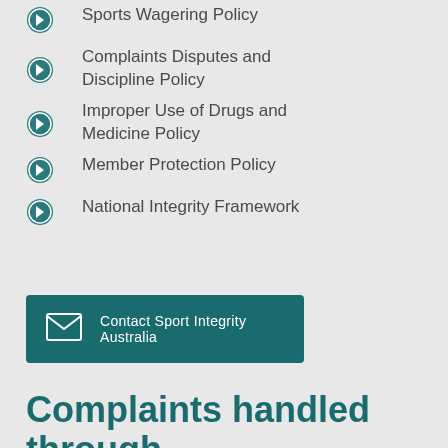Sports Wagering Policy
Complaints Disputes and Discipline Policy
Improper Use of Drugs and Medicine Policy
Member Protection Policy
National Integrity Framework
Contact Sport Integrity Australia
Complaints handled through